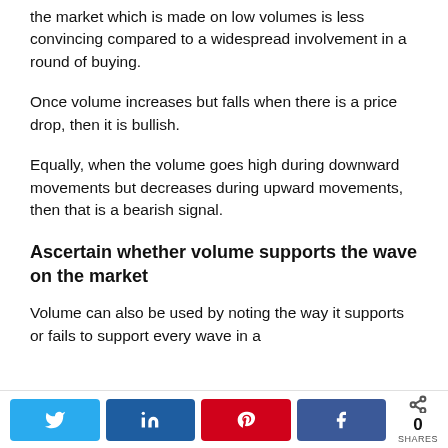the market which is made on low volumes is less convincing compared to a widespread involvement in a round of buying.
Once volume increases but falls when there is a price drop, then it is bullish.
Equally, when the volume goes high during downward movements but decreases during upward movements, then that is a bearish signal.
Ascertain whether volume supports the wave on the market
Volume can also be used by noting the way it supports or fails to support every wave in a
Share buttons: Twitter, LinkedIn, Pinterest, Facebook | 0 SHARES